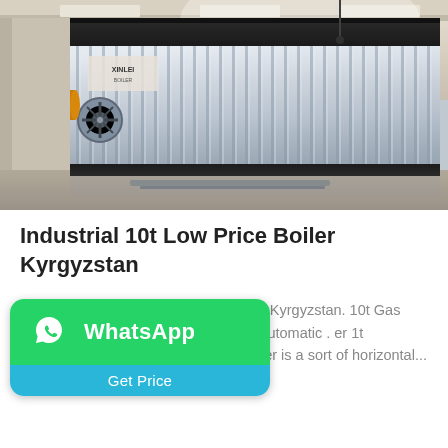[Figure (photo): Industrial boiler equipment in a factory setting — large corrugated metal unit with galvanized steel panels, inside an industrial warehouse with yellow pipes visible on the left side.]
Industrial 10t Low Price Boiler Kyrgyzstan
Commercial 10t Oil Condensing Boiler Kyrgyzstan. 10t Gas Condensing Boiler Commercial Fully Automatic . er 1t Kyrgyzstan. Oilamp;gas fired fired boiler is a sort of horizontal...